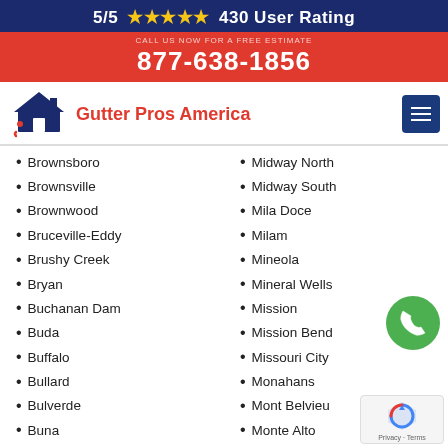5/5 ★★★★★ 430 User Rating
877-638-1856
[Figure (logo): Gutter Pros America logo with house icon]
Brownsboro
Brownsville
Brownwood
Bruceville-Eddy
Brushy Creek
Bryan
Buchanan Dam
Buda
Buffalo
Bullard
Bulverde
Buna
Bunker Hill Village
Midway North
Midway South
Mila Doce
Milam
Mineola
Mineral Wells
Mission
Mission Bend
Missouri City
Monahans
Mont Belvieu
Monte Alto
Montgomery